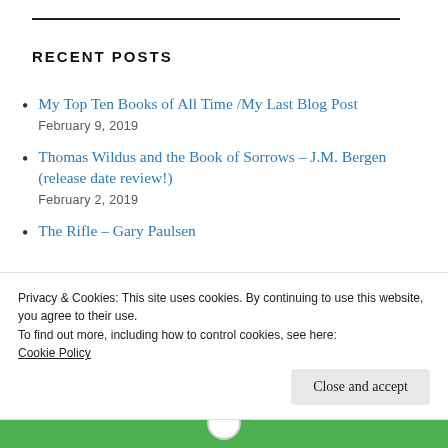RECENT POSTS
My Top Ten Books of All Time /My Last Blog Post
February 9, 2019
Thomas Wildus and the Book of Sorrows – J.M. Bergen (release date review!)
February 2, 2019
The Rifle – Gary Paulsen
Privacy & Cookies: This site uses cookies. By continuing to use this website, you agree to their use.
To find out more, including how to control cookies, see here:
Cookie Policy
Close and accept